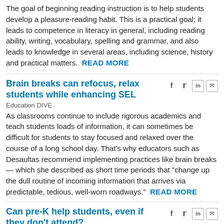The goal of beginning reading instruction is to help students develop a pleasure-reading habit. This is a practical goal; it leads to competence in literacy in general, including reading ability, writing, vocabulary, spelling and grammar, and also leads to knowledge in several areas, including science, history and practical matters.  READ MORE
Brain breaks can refocus, relax students while enhancing SEL
Education DIVE
As classrooms continue to include rigorous academics and teach students loads of information, it can sometimes be difficult for students to stay focused and relaxed over the course of a long school day. That's why educators such as Desaultas recommend implementing practices like brain breaks — which she described as short time periods that "change up the dull routine of incoming information that arrives via predictable, tedious, well-worn roadways."  READ MORE
Can pre-K help students, even if they don't attend?
Chalkbeat
A few years after South Carolina expanded access to preschool programs, students' test scores in elementary school jumped.